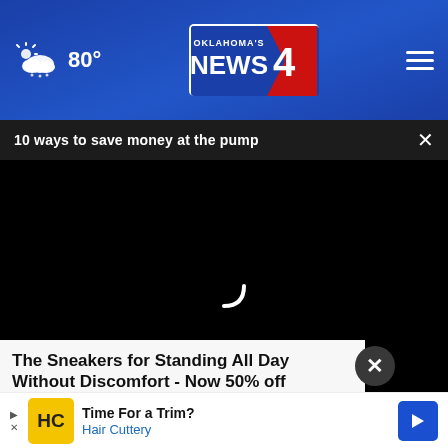Oklahoma's News 4 — 80°
10 ways to save money at the pump
[Figure (screenshot): Black video player area with loading spinner (white partial circle arc) in the center]
The Sneakers for Standing All Day Without Discomfort - Now 50% off
Sursell
[Figure (other): Hair Cuttery advertisement banner: HC logo on yellow background, text 'Time For a Trim? Hair Cuttery', blue arrow icon on right]